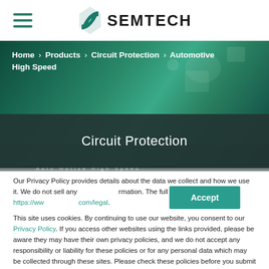SEMTECH
[Figure (photo): Green circuit board PCB background image for Semtech automotive high speed circuit protection product page]
Home > Products > Circuit Protection > Automotive High Speed
Circuit Protection
Our Privacy Policy provides details about the data we collect and how we use it. We do not sell any personal information. The full policy can be read at https://www.semtech.com/legal.
This site uses cookies. By continuing to use our website, you consent to our Privacy Policy. If you access other websites using the links provided, please be aware they may have their own privacy policies, and we do not accept any responsibility or liability for these policies or for any personal data which may be collected through these sites. Please check these policies before you submit any personal information to these sites.